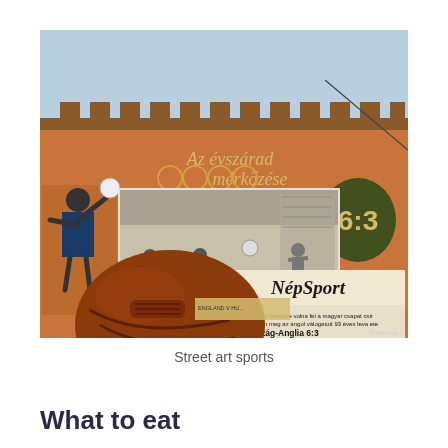[Figure (photo): Street art mural on a building wall showing a sports theme. The mural depicts vintage football/soccer imagery including a goalkeeping scene, black-and-white photos of players in action, a large '6:3' score emblem with laurel wreath, cursive Hungarian text reading 'Az évszárad mérkőzése', and a 'NépSport' newspaper headline reading 'Magyarország-Anglia 6:3'. In the foreground is a vintage brown leather football/basketball.]
Street art sports
What to eat